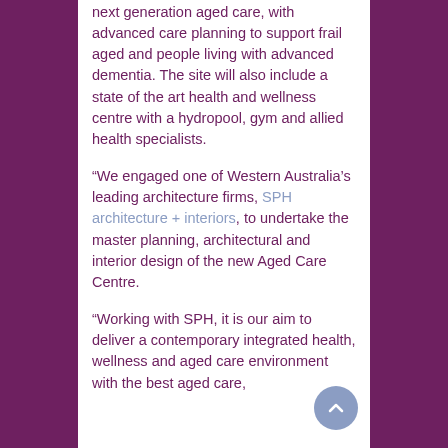next generation aged care, with advanced care planning to support frail aged and people living with advanced dementia. The site will also include a state of the art health and wellness centre with a hydropool, gym and allied health specialists.
“We engaged one of Western Australia’s leading architecture firms, SPH architecture + interiors, to undertake the master planning, architectural and interior design of the new Aged Care Centre.
“Working with SPH, it is our aim to deliver a contemporary integrated health, wellness and aged care environment with the best aged care,